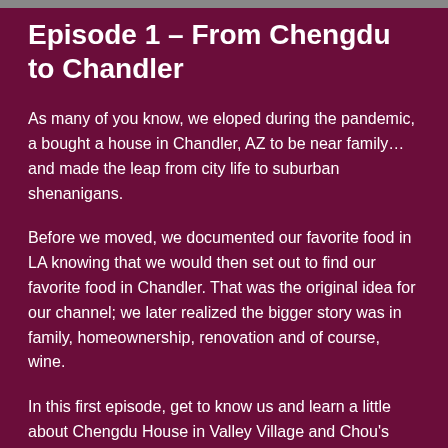Episode 1 – From Chengdu to Chandler
As many of you know, we eloped during the pandemic, a bought a house in Chandler, AZ to be near family…and made the leap from city life to suburban shenanigans.
Before we moved, we documented our favorite food in LA knowing that we would then set out to find our favorite food in Chandler. That was the original idea for our channel; we later realized the bigger story was in family, homeownership, renovation and of course, wine.
In this first episode, get to know us and learn a little about Chengdu House in Valley Village and Chou's Kitchen in Chandler, Arizona . Featured wine? Yummy Rusack in Solvang, CA